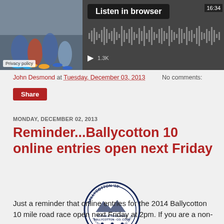[Figure (screenshot): Audio media player with thumbnail image of runners' legs, Listen in browser button, waveform display, duration 16:34, play button, and 1.3K plays count. Privacy policy label bottom-left of thumbnail.]
John Desmond at Tuesday, December 03, 2013    No comments:
Share
MONDAY, DECEMBER 02, 2013
Reminder...Ballycotton 10 online entries open next Friday
[Figure (logo): Ballycotton 10 Ten Mile Road Race Ballycotton Co. Cork circular badge/logo with runners silhouette and text 'A Classic Race at a Classic Distance']
Just a reminder that online entries for the 2014 Ballycotton 10 mile road race open next Friday at 2pm. If you are a non-